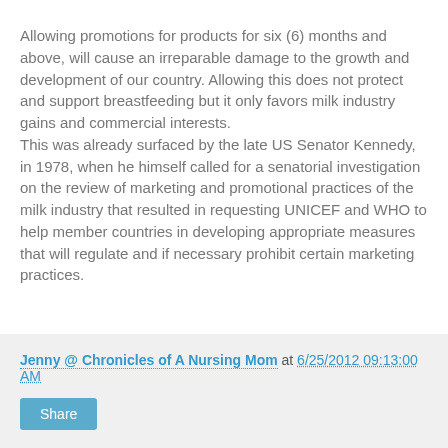Allowing promotions for products for six (6) months and above, will cause an irreparable damage to the growth and development of our country. Allowing this does not protect and support breastfeeding but it only favors milk industry gains and commercial interests. This was already surfaced by the late US Senator Kennedy, in 1978, when he himself called for a senatorial investigation on the review of marketing and promotional practices of the milk industry that resulted in requesting UNICEF and WHO to help member countries in developing appropriate measures that will regulate and if necessary prohibit certain marketing practices.
Jenny @ Chronicles of A Nursing Mom at 6/25/2012 09:13:00 AM
Share